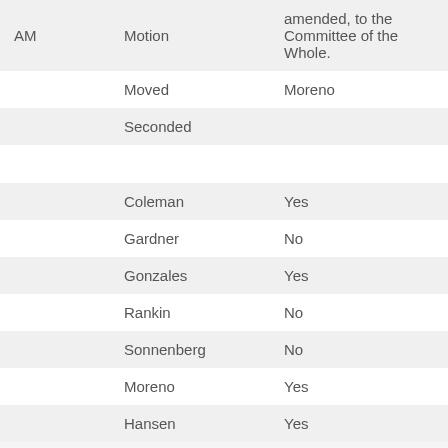|  |  |  |
| --- | --- | --- |
| AM | Motion | amended, to the Committee of the Whole. |
|  | Moved | Moreno |
|  | Seconded |  |
|  |  |  |
|  | Coleman | Yes |
|  | Gardner | No |
|  | Gonzales | Yes |
|  | Rankin | No |
|  | Sonnenberg | No |
|  | Moreno | Yes |
|  | Hansen | Yes |